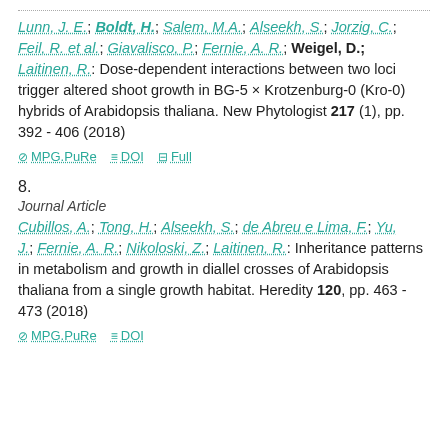Lunn, J. E.; Boldt, H.; Salem, M.A.; Alseekh, S.; Jorzig, C.; Feil, R. et al.; Giavalisco, P.; Fernie, A. R.; Weigel, D.; Laitinen, R.: Dose-dependent interactions between two loci trigger altered shoot growth in BG-5 × Krotzenburg-0 (Kro-0) hybrids of Arabidopsis thaliana. New Phytologist 217 (1), pp. 392 - 406 (2018)
MPG.PuRe  DOI  Full
8.
Journal Article
Cubillos, A.; Tong, H.; Alseekh, S.; de Abreu e Lima, F.; Yu, J.; Fernie, A. R.; Nikoloski, Z.; Laitinen, R.: Inheritance patterns in metabolism and growth in diallel crosses of Arabidopsis thaliana from a single growth habitat. Heredity 120, pp. 463 - 473 (2018)
MPG.PuRe  DOI